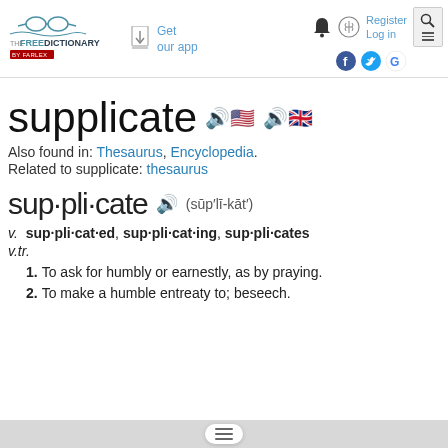[Figure (logo): The Free Dictionary by Farlex logo with glasses illustration]
Get our app
Register
Log in
supplicate
Also found in: Thesaurus, Encyclopedia.
Related to supplicate: thesaurus
sup·pli·cate  (sūp′lī-kāt′)
v.  sup·pli·cat·ed, sup·pli·cat·ing, sup·pli·cates
v.tr.
1. To ask for humbly or earnestly, as by praying.
2. To make a humble entreaty to; beseech.